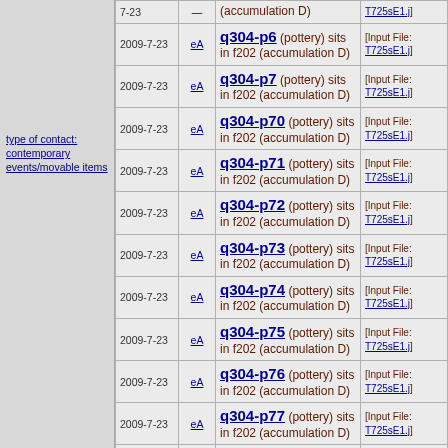type of contact: contemporary events/movable items
| date | eA | description | file |
| --- | --- | --- | --- |
| 7-23 | — | (accumulation D) | [Input File: T725sE1.j] |
| 2009-7-23 | eA | q304-p6 (pottery) sits in f202 (accumulation D) | [Input File: T725sE1.j] |
| 2009-7-23 | eA | q304-p7 (pottery) sits in f202 (accumulation D) | [Input File: T725sE1.j] |
| 2009-7-23 | eA | q304-p70 (pottery) sits in f202 (accumulation D) | [Input File: T725sE1.j] |
| 2009-7-23 | eA | q304-p71 (pottery) sits in f202 (accumulation D) | [Input File: T725sE1.j] |
| 2009-7-23 | eA | q304-p72 (pottery) sits in f202 (accumulation D) | [Input File: T725sE1.j] |
| 2009-7-23 | eA | q304-p73 (pottery) sits in f202 (accumulation D) | [Input File: T725sE1.j] |
| 2009-7-23 | eA | q304-p74 (pottery) sits in f202 (accumulation D) | [Input File: T725sE1.j] |
| 2009-7-23 | eA | q304-p75 (pottery) sits in f202 (accumulation D) | [Input File: T725sE1.j] |
| 2009-7-23 | eA | q304-p76 (pottery) sits in f202 (accumulation D) | [Input File: T725sE1.j] |
| 2009-7-23 | eA | q304-p77 (pottery) sits in f202 (accumulation D) | [Input File: T725sE1.j] |
| 2009-7-23 | eA | q304-p8 (pottery) sits in f202... | [Input File: T725sE1.j] |